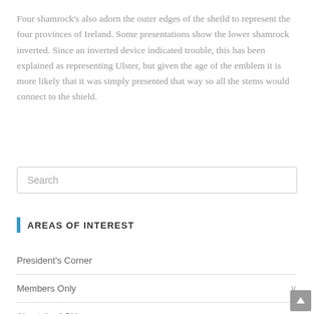Four shamrock's also adorn the outer edges of the sheild to represent the four provinces of Ireland. Some presentations show the lower shamrock inverted. Since an inverted device indicated trouble, this has been explained as representing Ulster, but given the age of the emblem it is more likely that it was simply presented that way so all the stems would connect to the shield.
Search
AREAS OF INTEREST
President's Corner
Members Only
About the AOH